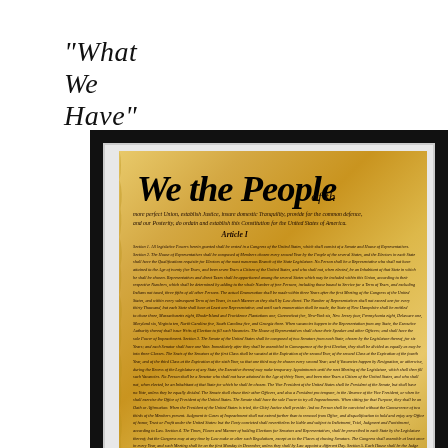"What We Have"
[Figure (photo): Framed photograph of the United States Constitution document showing the iconic 'We the People' preamble in large calligraphic script at the top, followed by the body text of the Constitution on aged parchment, displayed in a black frame with white mat.]